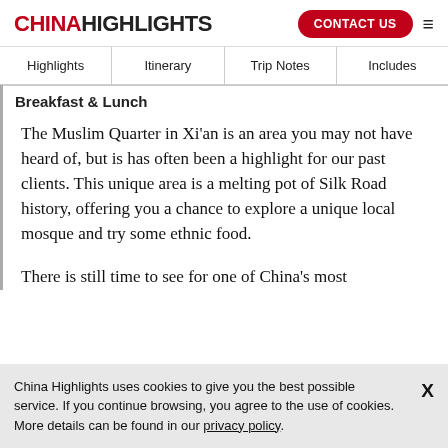CHINA HIGHLIGHTS | CONTACT US
Highlights | Itinerary | Trip Notes | Includes
Breakfast & Lunch
The Muslim Quarter in Xi'an is an area you may not have heard of, but is has often been a highlight for our past clients. This unique area is a melting pot of Silk Road history, offering you a chance to explore a unique local mosque and try some ethnic food.
There is still time to see for one of China's most
China Highlights uses cookies to give you the best possible service. If you continue browsing, you agree to the use of cookies. More details can be found in our privacy policy.